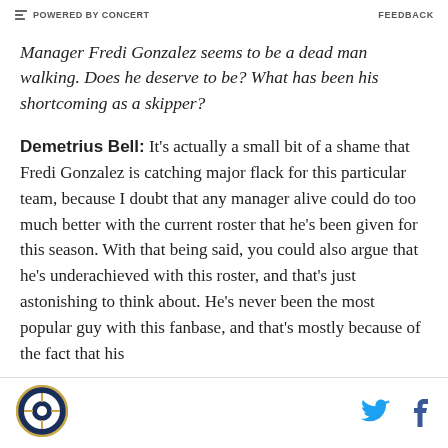POWERED BY CONCERT   FEEDBACK
Manager Fredi Gonzalez seems to be a dead man walking. Does he deserve to be? What has been his shortcoming as a skipper?
Demetrius Bell: It's actually a small bit of a shame that Fredi Gonzalez is catching major flack for this particular team, because I doubt that any manager alive could do too much better with the current roster that he's been given for this season. With that being said, you could also argue that he's underachieved with this roster, and that's just astonishing to think about. He's never been the most popular guy with this fanbase, and that's mostly because of the fact that his